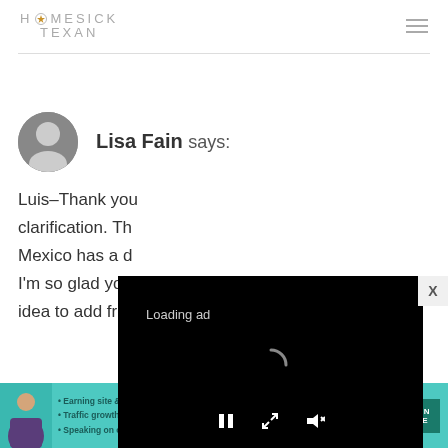HOMESICK TEXAN
[Figure (photo): Circular avatar photo of Lisa Fain, a woman with light hair, in black and white]
Lisa Fain says:
Luis–Thank you clarification. Th Mexico has a d I'm so glad you idea to add fresh chiles for a fruity pop!
[Figure (screenshot): Video ad overlay showing 'Loading ad' text with a loading spinner and playback controls (pause, fullscreen, mute) on a black background]
[Figure (infographic): SHE Partner Network banner advertisement with teal background listing bullet points: Earning site & social revenue, Traffic growth, Speaking on our stages. Includes LEARN MORE button.]